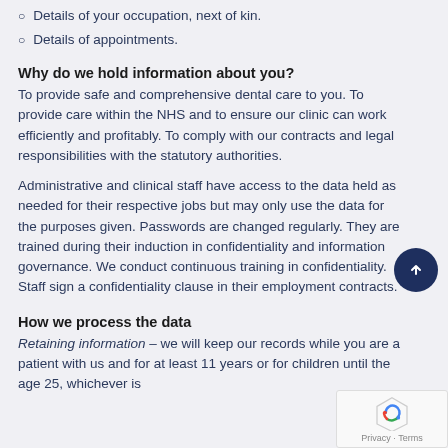Details of your occupation, next of kin.
Details of appointments.
Why do we hold information about you?
To provide safe and comprehensive dental care to you. To provide care within the NHS and to ensure our clinic can work efficiently and profitably. To comply with our contracts and legal responsibilities with the statutory authorities.
Administrative and clinical staff have access to the data held as needed for their respective jobs but may only use the data for the purposes given. Passwords are changed regularly. They are trained during their induction in confidentiality and information governance. We conduct continuous training in confidentiality. Staff sign a confidentiality clause in their employment contracts.
How we process the data
Retaining information – we will keep our records while you are a patient with us and for at least 11 years or for children until the age 25, whichever is